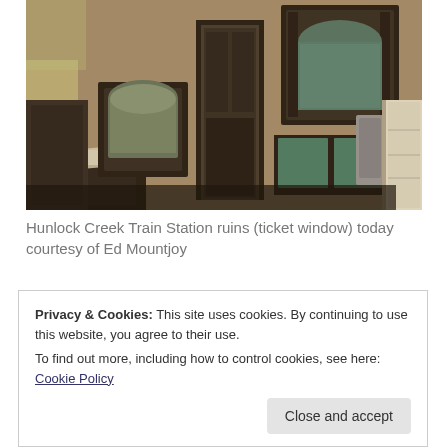[Figure (photo): Interior of the Hunlock Creek Train Station ruins showing the ticket window area. Wooden paneled walls, ornate wooden frames around windows and a doorway, an old desk in the foreground with scattered papers, and a shelving unit on the right. The scene is dimly lit and appears abandoned.]
Hunlock Creek Train Station ruins (ticket window) today courtesy of Ed Mountjoy
Privacy & Cookies: This site uses cookies. By continuing to use this website, you agree to their use.
To find out more, including how to control cookies, see here: Cookie Policy